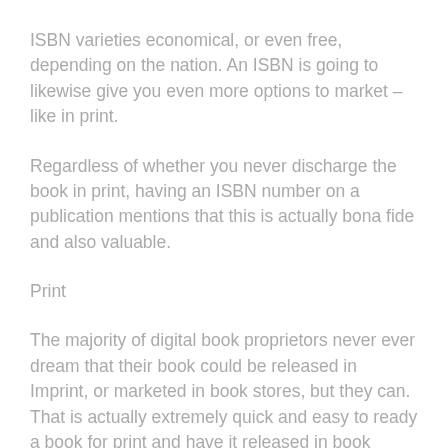ISBN varieties economical, or even free, depending on the nation. An ISBN is going to likewise give you even more options to market – like in print.
Regardless of whether you never discharge the book in print, having an ISBN number on a publication mentions that this is actually bona fide and also valuable.
Print
The majority of digital book proprietors never ever dream that their book could be released in Imprint, or marketed in book stores, but they can. That is actually extremely quick and easy to ready a book for print and have it released in book stores. Some